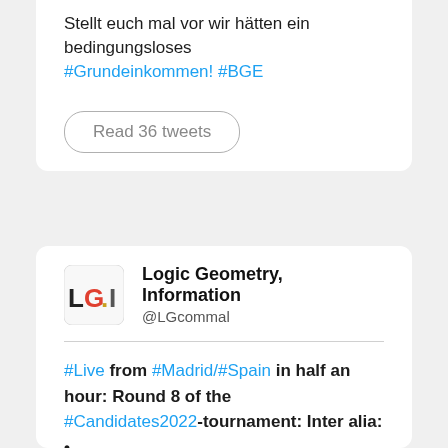Stellt euch mal vor wir hätten ein bedingungsloses #Grundeinkommen! #BGE
Read 36 tweets
Logic Geometry, Information @LGcommal
#Live from #Madrid/#Spain in half an hour: Round 8 of the #Candidates2022-tournament: Inter alia: • #Nepomniachtchi (leader) vs #DingLiren • #Firouzja(current LAST) vs #Radjabov #Denksport:#Mindsports #Schach:#Chess #Sport:#Sports